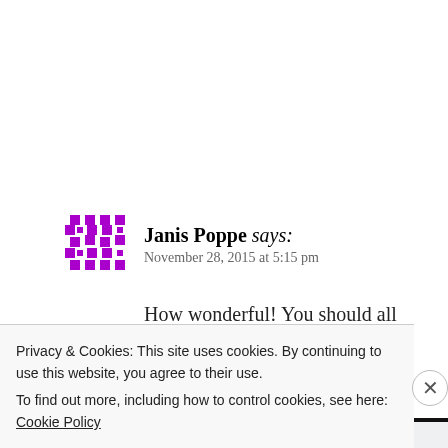Janis Poppe says: November 28, 2015 at 5:15 pm
How wonderful! You should all enjoy this very much.
Reply
Brenda Kimaro says: November 29, 2015 at 6:44 am
Privacy & Cookies: This site uses cookies. By continuing to use this website, you agree to their use. To find out more, including how to control cookies, see here: Cookie Policy
Close and accept